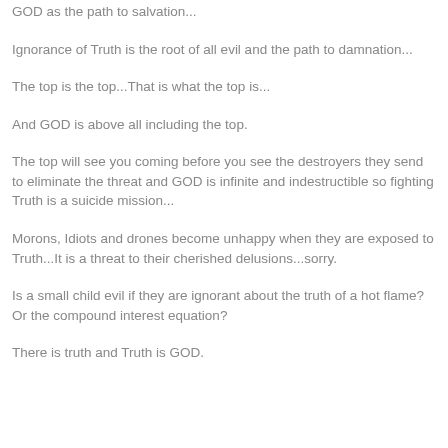GOD as the path to salvation...
Ignorance of Truth is the root of all evil and the path to damnation...
The top is the top...That is what the top is...
And GOD is above all including the top.
The top will see you coming before you see the destroyers they send to eliminate the threat and GOD is infinite and indestructible so fighting Truth is a suicide mission...
Morons, Idiots and drones become unhappy when they are exposed to Truth...It is a threat to their cherished delusions...sorry.
Is a small child evil if they are ignorant about the truth of a hot flame? Or the compound interest equation?
There is truth and Truth is GOD.